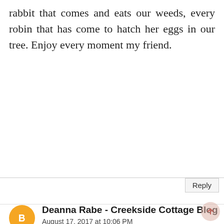rabbit that comes and eats our weeds, every robin that has come to hatch her eggs in our tree. Enjoy every moment my friend.
Reply
Deanna Rabe - Creekside Cottage Blog
August 17, 2017 at 10:06 PM
Your words remind me of Corithians were Paul speaks of us being comforted in our sorrow so that we can comfort others. So grateful your